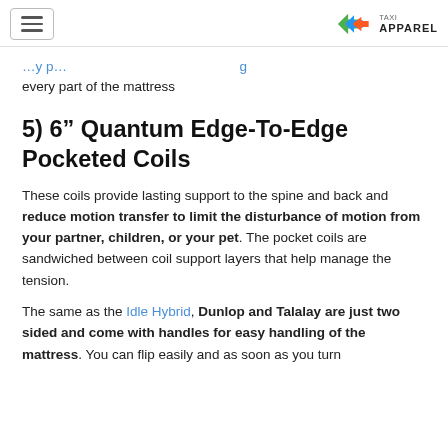[hamburger menu] [Taxi Apparel logo]
…every part of the mattress
5) 6” Quantum Edge-To-Edge Pocketed Coils
These coils provide lasting support to the spine and back and reduce motion transfer to limit the disturbance of motion from your partner, children, or your pet. The pocket coils are sandwiched between coil support layers that help manage the tension.
The same as the Idle Hybrid, Dunlop and Talalay are just two sided and come with handles for easy handling of the mattress. You can flip easily and as soon as you turn